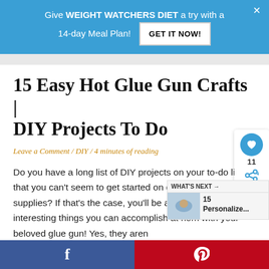Give WEIGHT WATCHERS DIET a try with a 14-day Meal Plan! GET IT NOW!
15 Easy Hot Glue Gun Crafts | DIY Projects To Do
Leave a Comment / DIY / 4 minutes of reading
Do you have a long list of DIY projects on your to-do list that you can't seem to get started on due to a lack of supplies? If that's the case, you'll be amazed at how many interesting things you can accomplish at home with your beloved glue gun! Yes, they aren...
f   p